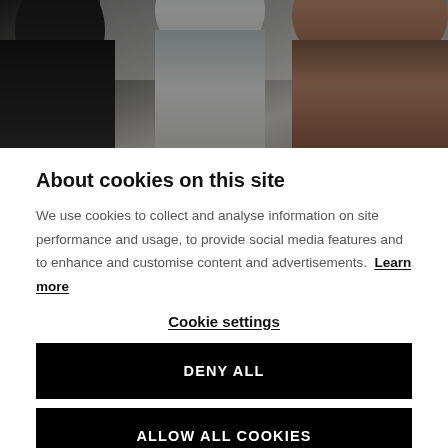[Figure (photo): Photo of people in a meeting or collaborative work setting, partially visible from the waist up, dark and muted tones]
About cookies on this site
We use cookies to collect and analyse information on site performance and usage, to provide social media features and to enhance and customise content and advertisements. Learn more
Cookie settings
DENY ALL
ALLOW ALL COOKIES